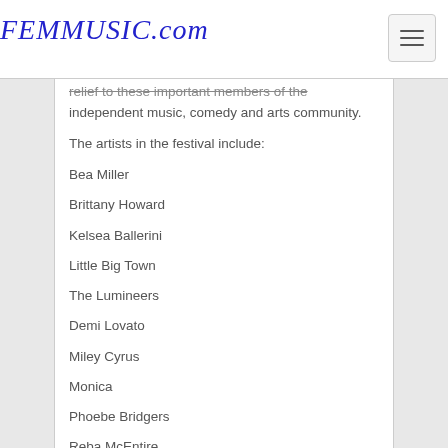FEMMUSIC.com
relief to these important members of the independent music, comedy and arts community.
The artists in the festival include:
Bea Miller
Brittany Howard
Kelsea Ballerini
Little Big Town
The Lumineers
Demi Lovato
Miley Cyrus
Monica
Phoebe Bridgers
Reba McEntire
And many more. Fans can watch the festival on